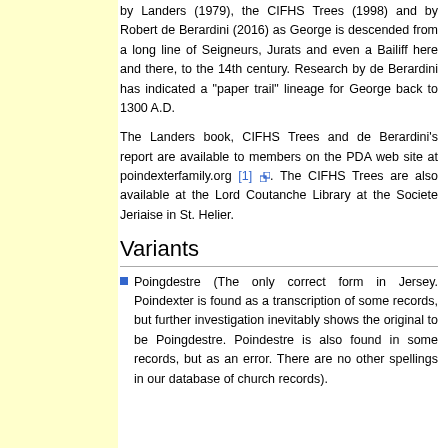by Landers (1979), the CIFHS Trees (1998) and by Robert de Berardini (2016) as George is descended from a long line of Seigneurs, Jurats and even a Bailiff here and there, to the 14th century. Research by de Berardini has indicated a "paper trail" lineage for George back to 1300 A.D.
The Landers book, CIFHS Trees and de Berardini's report are available to members on the PDA web site at poindexterfamily.org [1]. The CIFHS Trees are also available at the Lord Coutanche Library at the Societe Jeriaise in St. Helier.
Variants
Poingdestre (The only correct form in Jersey. Poindexter is found as a transcription of some records, but further investigation inevitably shows the original to be Poingdestre. Poindestre is also found in some records, but as an error. There are no other spellings in our database of church records).